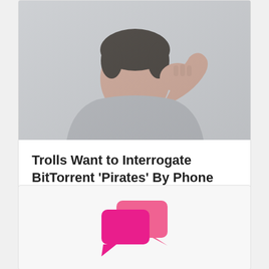[Figure (photo): A man in a grey t-shirt holds his hand to his chin/mouth in a thoughtful or worried pose, against a light grey background.]
Trolls Want to Interrogate BitTorrent ‘Pirates’ By Phone
June 18, 2015, 13:18 by Andy Maxwell
[Figure (illustration): Two overlapping pink/magenta speech bubble chat icons on a light grey background.]